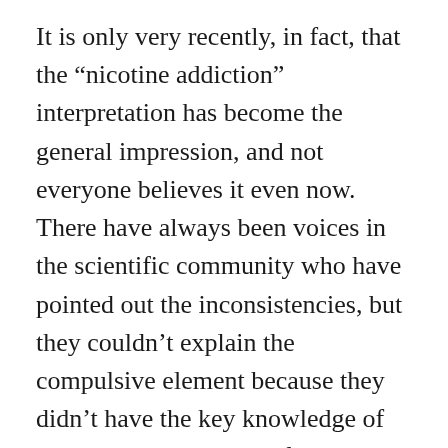It is only very recently, in fact, that the “nicotine addiction” interpretation has become the general impression, and not everyone believes it even now. There have always been voices in the scientific community who have pointed out the inconsistencies, but they couldn’t explain the compulsive element because they didn’t have the key knowledge of the normal operations of the human Subconscious mind and how it organises and activates compulsive habitual behaviour. So they got shouted down – as did the tobacco companies who tried to point out that other habitual behaviours that did not involve any substances – such as shopaholics and